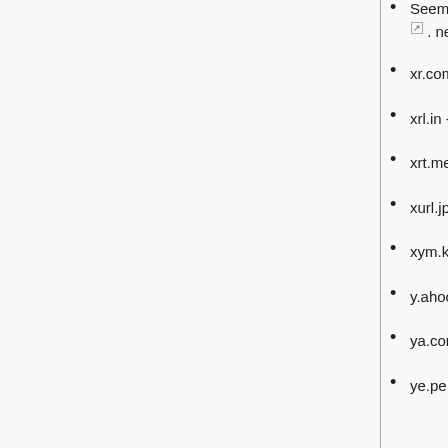Seems to have issued 4 characters using [a-zA-Z0-9?] - http://xiy.net/9Hw3 http://xiy.net/?vfk (as of 17:39, 2016-05-15 (EDT))
xr.com - Doesn't resolve as of 02:37, 2016-05-14 (EDT)
xrl.in - Domain for sale as of 02:37, 2016-05-14 (EDT)
xrt.me - Spam blog as of 02:37, 2016-05-14 (EDT)
xurl.jp - Server not responding as of 12:32, 2016-09-05 (EDT)
xym.kr - Gibberish (?) Korean text blog.
y.ahoo.it - Yahoo
ya.com - Error message in Spanish as of 12:32, 2016-09-05 (EDT)
ye.pe - Running an empty instance of OwnCloud as of 02:50, 2016-05-14 (EDT)